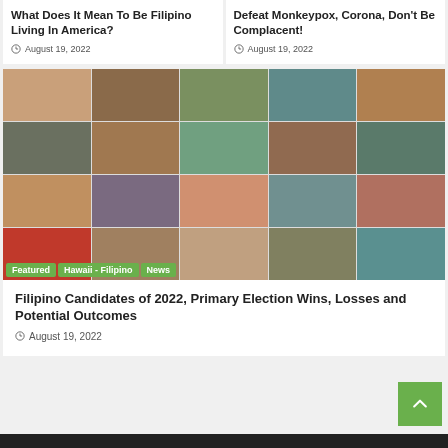What Does It Mean To Be Filipino Living In America?
August 19, 2022
Defeat Monkeypox, Corona, Don't Be Complacent!
August 19, 2022
[Figure (photo): Grid of portrait photos of Filipino candidates, 5 columns x 4 rows, with green tag badges: Featured, Hawaii - Filipino, News]
Filipino Candidates of 2022, Primary Election Wins, Losses and Potential Outcomes
August 19, 2022